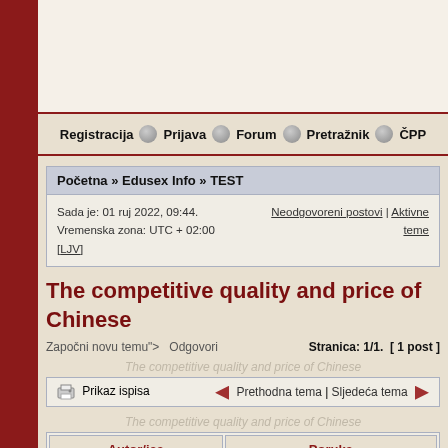[Figure (screenshot): Advertisement/banner area at the top of the forum page]
Registracija | Prijava | Forum | Pretraž​nik | ČPP
Početna » Edusex Info » TEST
Sada je: 01 ruj 2022, 09:44. Vremenska zona: UTC + 02:00 [LJV]
Neodgovoreni postovi | Aktivne teme
The competitive quality and price of Chinese
Započni novu temu"> Odgovori   Stranica: 1/1. [ 1 post ]
The competitive quality and price of Chinese
Prikaz ispisa   Prethodna tema | Sljedeća tema
The competitive quality and price of Chinese
| Autor/ica | Poruka |
| --- | --- |